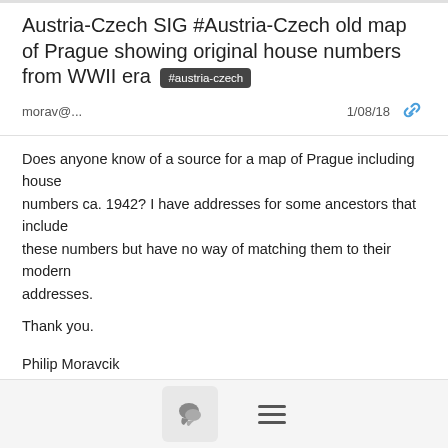Austria-Czech SIG #Austria-Czech old map of Prague showing original house numbers from WWII era #austria-czech
morav@...   1/08/18
Does anyone know of a source for a map of Prague including house
numbers ca. 1942?  I have addresses for some ancestors that include
these numbers but have no way of matching them to their modern addresses.
Thank you.
Philip Moravcik
Honolulu, Hawaii